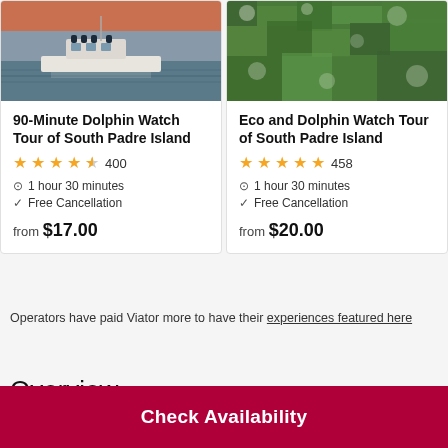[Figure (photo): Photo of a boat on water at dusk, left card image]
90-Minute Dolphin Watch Tour of South Padre Island
4.5 stars, 400 reviews
1 hour 30 minutes
Free Cancellation
from $17.00
[Figure (photo): Aerial photo of green forested area, right card image]
Eco and Dolphin Watch Tour of South Padre Island
5 stars, 458 reviews
1 hour 30 minutes
Free Cancellation
from $20.00
Operators have paid Viator more to have their experiences featured here
Overview
Check Availability